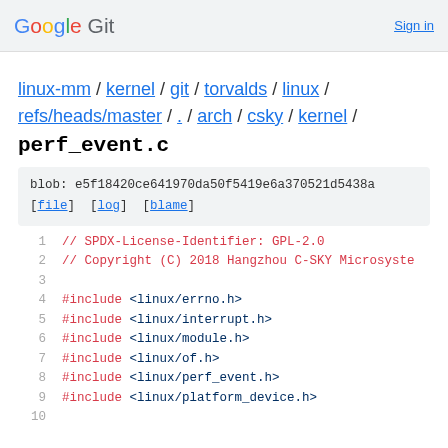Google Git  Sign in
linux-mm / kernel / git / torvalds / linux / refs/heads/master / . / arch / csky / kernel /
perf_event.c
blob: e5f18420ce641970da50f5419e6a370521d5438a [file] [log] [blame]
1  // SPDX-License-Identifier: GPL-2.0
2  // Copyright (C) 2018 Hangzhou C-SKY Microsyste
3  
4  #include <linux/errno.h>
5  #include <linux/interrupt.h>
6  #include <linux/module.h>
7  #include <linux/of.h>
8  #include <linux/perf_event.h>
9  #include <linux/platform_device.h>
10